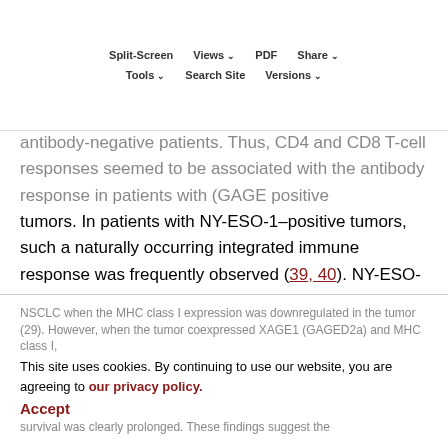Split-Screen | Views | PDF | Share | Tools | Search Site | Versions
antibody-negative patients. Thus, CD4 and CD8 T-cell responses seemed to be associated with the antibody response in patients with (GAGE positive tumors. In patients with NY-ESO-1–positive tumors, such a naturally occurring integrated immune response was frequently observed (39, 40). NY-ESO-1 is a prototype of the CT antigen and has been shown to be strongly antigenic (41). XAGE1 (GAGED2a) seemed to be less immunogenic than NY-ESO-1 (21), but still capable of eliciting an integrated immune response. In our previous study, we demonstrated that XAGE1 (GAGED2a) expression resulted in shorter survival in patients with NSCLC when the MHC class I expression was downregulated in the tumor (29). However, when the tumor coexpressed XAGE1 (GAGED2a) and MHC class I, survival was clearly prolonged. These findings suggest the
This site uses cookies. By continuing to use our website, you are agreeing to our privacy policy. Accept